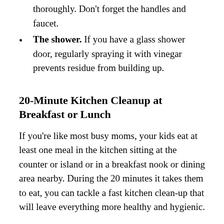The sink. Spray your sink with vinegar and wipe thoroughly. Don't forget the handles and faucet.
The shower. If you have a glass shower door, regularly spraying it with vinegar prevents residue from building up.
20-Minute Kitchen Cleanup at Breakfast or Lunch
If you're like most busy moms, your kids eat at least one meal in the kitchen sitting at the counter or island or in a breakfast nook or dining area nearby. During the 20 minutes it takes them to eat, you can tackle a fast kitchen clean-up that will leave everything more healthy and hygienic.
Spray all hard surfaces — countertops, sink, cupboard fronts, taps, and faucets — with a dilute formula containing distilled white vinegar and